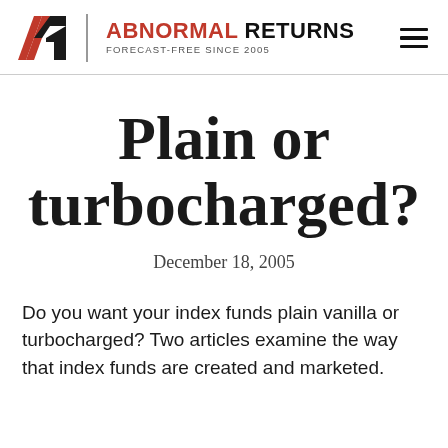Abnormal Returns — Forecast-Free Since 2005
Plain or turbocharged?
December 18, 2005
Do you want your index funds plain vanilla or turbocharged? Two articles examine the way that index funds are created and marketed.